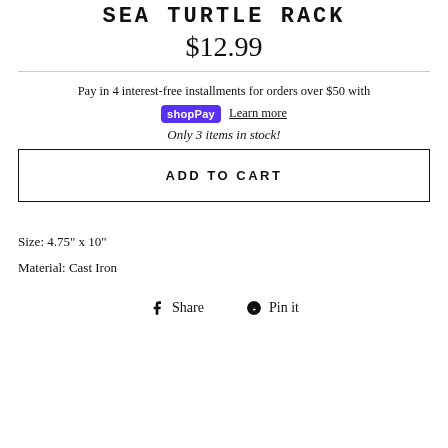SEA TURTLE RACK
$12.99
Pay in 4 interest-free installments for orders over $50 with shop Pay  Learn more
Only 3 items in stock!
ADD TO CART
Size: 4.75" x 10"
Material: Cast Iron
Share  Pin it